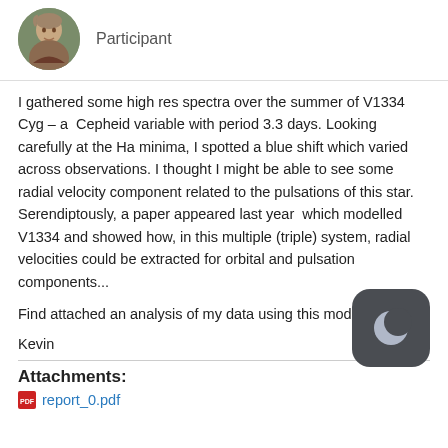[Figure (photo): Circular avatar photo of a person outdoors]
Participant
I gathered some high res spectra over the summer of V1334 Cyg – a  Cepheid variable with period 3.3 days. Looking carefully at the Ha minima, I spotted a blue shift which varied across observations. I thought I might be able to see some radial velocity component related to the pulsations of this star. Serendiptously, a paper appeared last year  which modelled V1334 and showed how, in this multiple (triple) system, radial velocities could be extracted for orbital and pulsation components...
Find attached an analysis of my data using this model.
Kevin
Attachments:
report_0.pdf
[Figure (logo): Dark rounded square badge with a crescent moon icon]